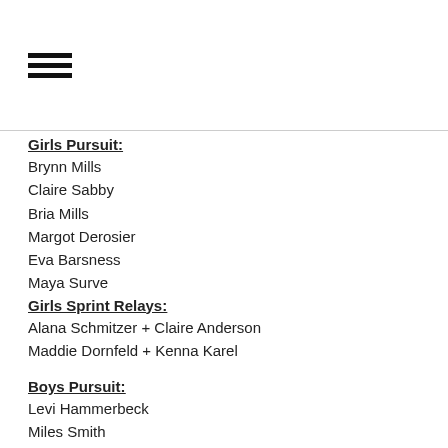[Figure (other): Hamburger menu icon with three horizontal lines]
Girls Pursuit:
Brynn Mills
Claire Sabby
Bria Mills
Margot Derosier
Eva Barsness
Maya Surve
Girls Sprint Relays:
Alana Schmitzer + Claire Anderson
Maddie Dornfeld + Kenna Karel
Boys Pursuit:
Levi Hammerbeck
Miles Smith
Will Anderson
August Arnold
Sam Notch
Will Carrington